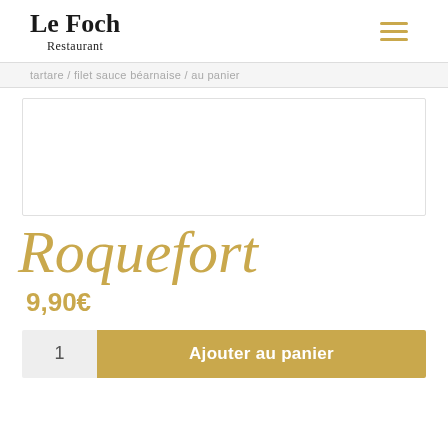Le Foch Restaurant
tartare / filet sauce béarnaise / au panier
[Figure (photo): White empty product image box with border]
Roquefort
9,90€
1   Ajouter au panier